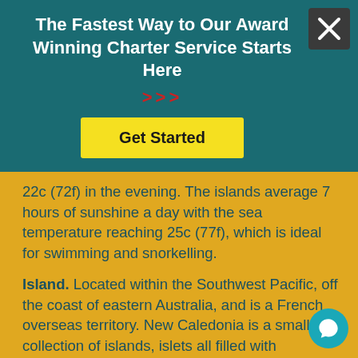The Fastest Way to Our Award Winning Charter Service Starts Here
>>> (decorative arrows)
Get Started
22c (72f) in the evening. The islands average 7 hours of sunshine a day with the sea temperature reaching 25c (77f), which is ideal for swimming and snorkelling.
Island. Located within the Southwest Pacific, off the coast of eastern Australia, and is a French overseas territory. New Caledonia is a small collection of islands, islets all filled with